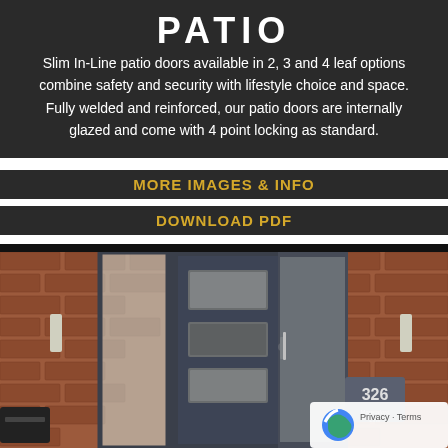PATIO
Slim In-Line patio doors available in 2, 3 and 4 leaf options combine safety and security with lifestyle choice and space. Fully welded and reinforced, our patio doors are internally glazed and come with 4 point locking as standard.
MORE IMAGES & INFO
DOWNLOAD PDF
[Figure (photo): Photo of a modern dark grey front door with decorative rectangular inset panels, flanked by frosted glass side panels, set against a red brick wall. House number 326 is visible on the right side.]